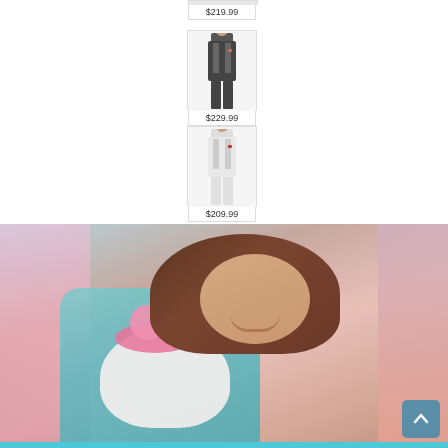[Figure (photo): Product listing showing top of a men's suit with price $219.99]
$219.99
[Figure (photo): Product listing showing a man in a dark suit, price $229.99]
$229.99
[Figure (photo): Product listing showing a man in a white suit, price $209.99]
$209.99
[Figure (photo): Photo of a woman with brown hair wearing a teal/blue embroidered outfit holding a baby with a pink floral headband, in a colorful studio setting]